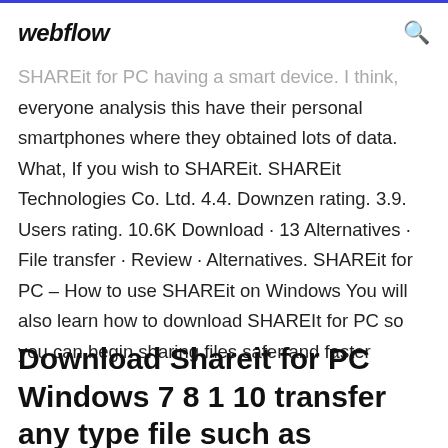webflow
SHAREit for PC having a smart device. I think, everyone analysis this have their personal smartphones where they obtained lots of data. What, If you wish to SHAREit. SHAREit Technologies Co. Ltd. 4.4. Downzen rating. 3.9. Users rating. 10.6K Download · 13 Alternatives · File transfer · Review · Alternatives. SHAREit for PC – How to use SHAREit on Windows You will also learn how to download SHAREIt for PC so you can begin sharing files safer and faster
Download Shareit for PC Windows 7 8 1 10 transfer any type file such as